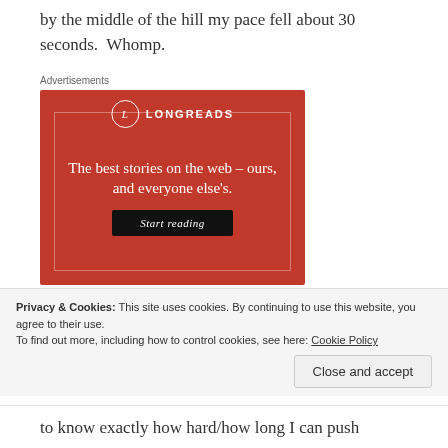by the middle of the hill my pace fell about 30 seconds.  Whomp.
Advertisements
[Figure (other): Longreads advertisement banner with red background showing the text 'The best stories on the web – ours, and everyone else's.' with a 'Start reading' button]
Privacy & Cookies: This site uses cookies. By continuing to use this website, you agree to their use.
To find out more, including how to control cookies, see here: Cookie Policy
Close and accept
to know exactly how hard/how long I can push